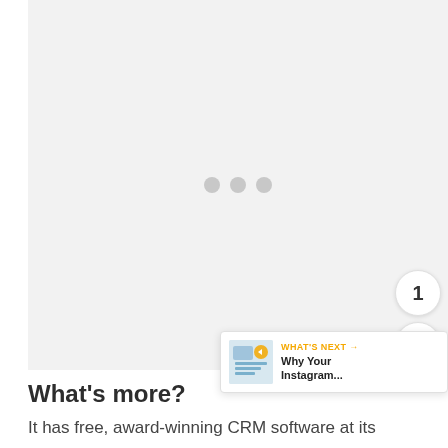[Figure (other): Large gray placeholder area with three gray loading dots in the center, indicating an embedded video or image that has not loaded yet]
[Figure (other): Yellow circular heart/like button with a white heart icon, a count badge showing '1', and a white circular share button with a share icon — floating UI elements on the right side]
[Figure (other): What's Next card with a thumbnail illustration, 'WHAT'S NEXT →' label in orange/gold, and text 'Why Your Instagram...']
What's more?
It has free, award-winning CRM software at its